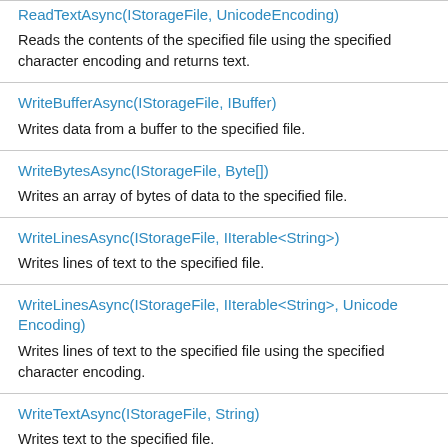ReadTextAsync(IStorageFile, UnicodeEncoding)
Reads the contents of the specified file using the specified character encoding and returns text.
WriteBufferAsync(IStorageFile, IBuffer)
Writes data from a buffer to the specified file.
WriteBytesAsync(IStorageFile, Byte[])
Writes an array of bytes of data to the specified file.
WriteLinesAsync(IStorageFile, IIterable<String>)
Writes lines of text to the specified file.
WriteLinesAsync(IStorageFile, IIterable<String>, UnicodeEncoding)
Writes lines of text to the specified file using the specified character encoding.
WriteTextAsync(IStorageFile, String)
Writes text to the specified file.